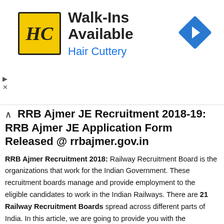[Figure (other): Advertisement banner for Hair Cuttery showing their logo (HC in yellow square), text 'Walk-Ins Available' and 'Hair Cuttery' in blue, and a blue diamond-shaped navigation icon on the right. Small close/arrow buttons on the left.]
RRB Ajmer JE Recruitment 2018-19: RRB Ajmer JE Application Form Released @ rrbajmer.gov.in
RRB Ajmer Recruitment 2018: Railway Recruitment Board is the organizations that work for the Indian Government. These recruitment boards manage and provide employment to the eligible candidates to work in the Indian Railways. There are 21 Railway Recruitment Boards spread across different parts of India. In this article, we are going to provide you with the information about the RRB Ajmer.
RRB Ajmer JE Recruitment 2018 – RRB Ajmer is going to announce the RRB Jr. Engineer Recruitment 2019 on its official website. The candidates who are interested will be